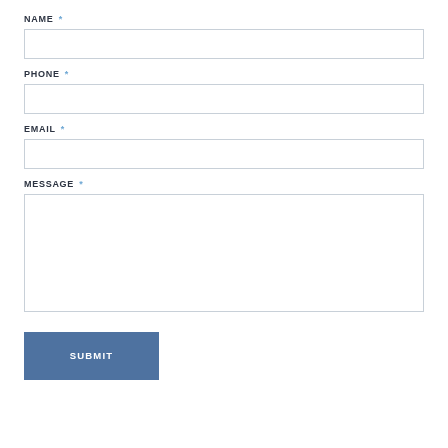NAME *
PHONE *
EMAIL *
MESSAGE *
SUBMIT